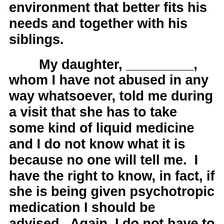environment that better fits his needs and together with his siblings.
My daughter, _________, whom I have not abused in any way whatsoever, told me during a visit that she has to take some kind of liquid medicine and I do not know what it is because no one will tell me. I have the right to know, in fact, if she is being given psychotropic medication I should be advised. Again, I do not have to remind you of the procedures involved in giving children psychotropic medication. Even if she is taking Tylenol, I want to know why she has to take it every day. This poor child has been subjected to TWO vaginal/anal examinations within a matter of a few days! Again, I have not sexually or by any other means, abused this little girl! She has never